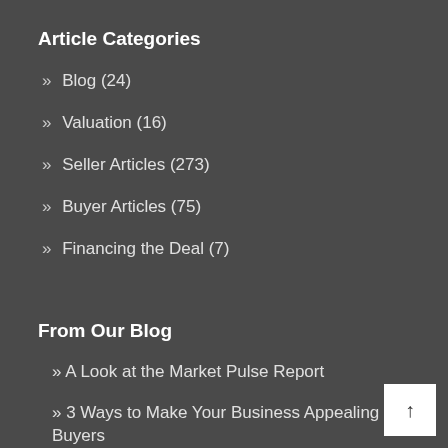Article Categories
» Blog (24)
» Valuation (16)
» Seller Articles (273)
» Buyer Articles (75)
» Financing the Deal (7)
From Our Blog
» A Look at the Market Pulse Report
» 3 Ways to Make Your Business Appealing to Buyers
» Three Reasons Why You Might Want to